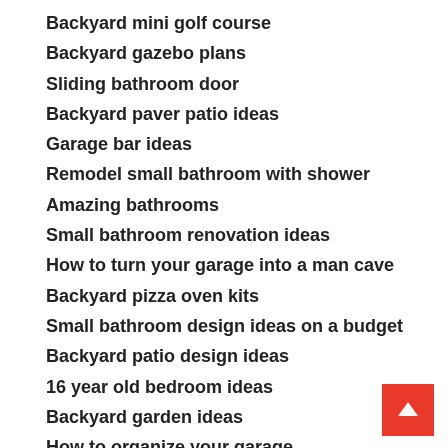Backyard mini golf course
Backyard gazebo plans
Sliding bathroom door
Backyard paver patio ideas
Garage bar ideas
Remodel small bathroom with shower
Amazing bathrooms
Small bathroom renovation ideas
How to turn your garage into a man cave
Backyard pizza oven kits
Small bathroom design ideas on a budget
Backyard patio design ideas
16 year old bedroom ideas
Backyard garden ideas
How to organize your garage
Backyard designs on a budget
Backyard party ideas